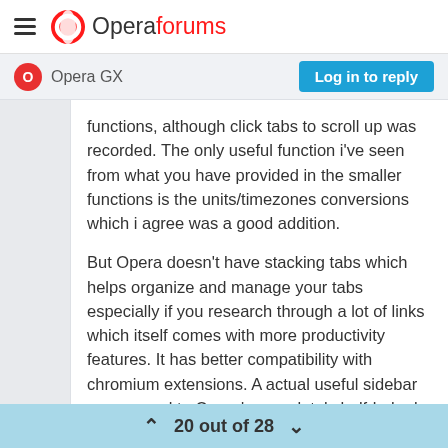Opera forums
Opera GX
Log in to reply
functions, although click tabs to scroll up was recorded. The only useful function i've seen from what you have provided in the smaller functions is the units/timezones conversions which i agree was a good addition.
But Opera doesn't have stacking tabs which helps organize and manage your tabs especially if you research through a lot of links which itself comes with more productivity features. It has better compatibility with chromium extensions. A actual useful sidebar as opposed to Opera's completely half-baked one. Icon only for bookmarks, Way better way to update, which prompts the user. No restrictions on Search
20 out of 28